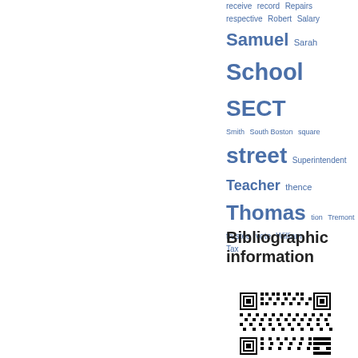[Figure (infographic): Tag cloud with blue-colored words of varying sizes representing index terms: receive, record, Repairs, respective, Robert, Salary, Samuel, Sarah, School, SECT, Smith, South Boston, square, street, Superintendent, Teacher, thence, Thomas, tion, Tremont, trustee, vote, William, Tax]
Bibliographic information
[Figure (other): QR code for bibliographic information]